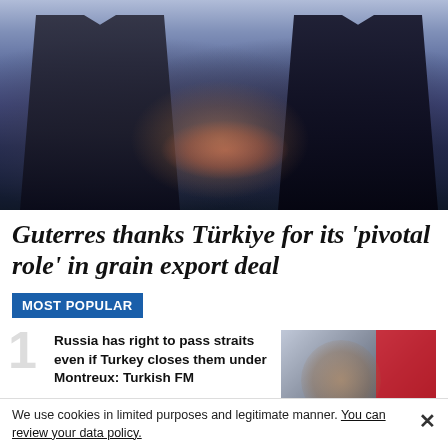[Figure (photo): Two men in dark suits shaking hands on a stage with a light blue/purple background]
Guterres thanks Türkiye for its 'pivotal role' in grain export deal
MOST POPULAR
Russia has right to pass straits even if Turkey closes them under Montreux: Turkish FM
[Figure (photo): Turkish Foreign Minister speaking at a press conference with a Turkish flag in the background]
We use cookies in limited purposes and legitimate manner. You can review your data policy.